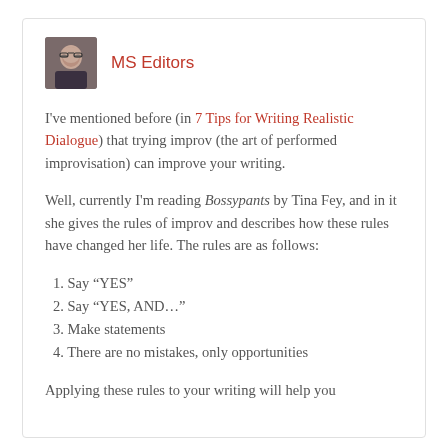[Figure (photo): Small portrait photo of a woman with glasses and dark hair, used as author avatar for MS Editors]
MS Editors
I've mentioned before (in 7 Tips for Writing Realistic Dialogue) that trying improv (the art of performed improvisation) can improve your writing.
Well, currently I'm reading Bossypants by Tina Fey, and in it she gives the rules of improv and describes how these rules have changed her life. The rules are as follows:
1. Say “YES”
2. Say “YES, AND…”
3. Make statements
4. There are no mistakes, only opportunities
Applying these rules to your writing will help you